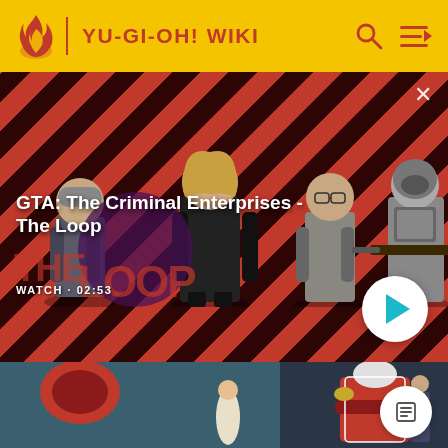YU-GI-OH! WIKI
[Figure (screenshot): Video thumbnail for GTA: The Criminal Enterprises - The Loop showing game characters on a red diagonal striped background with WATCH · 02:53 label and play button]
GTA: The Criminal Enterprises - The Loop
[Figure (screenshot): Anime video thumbnail showing Yu-Gi-Oh characters in red uniforms with an article icon button]